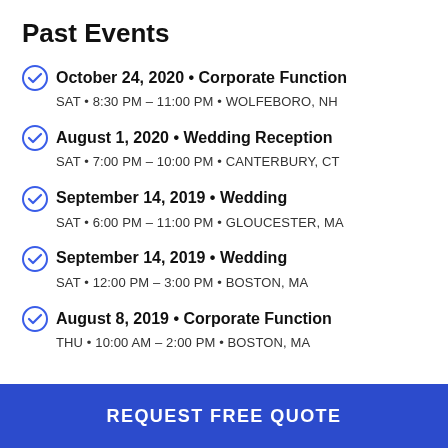Past Events
October 24, 2020 • Corporate Function
SAT • 8:30 PM – 11:00 PM • WOLFEBORO, NH
August 1, 2020 • Wedding Reception
SAT • 7:00 PM – 10:00 PM • CANTERBURY, CT
September 14, 2019 • Wedding
SAT • 6:00 PM – 11:00 PM • GLOUCESTER, MA
September 14, 2019 • Wedding
SAT • 12:00 PM – 3:00 PM • BOSTON, MA
August 8, 2019 • Corporate Function
THU • 10:00 AM – 2:00 PM • BOSTON, MA
REQUEST FREE QUOTE